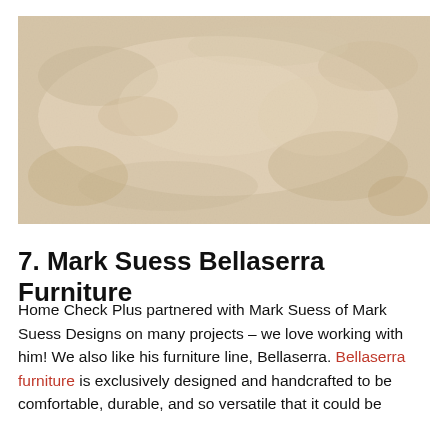[Figure (photo): A photo of a light beige/cream colored stone or marble surface texture with subtle veining and variations in tone.]
7. Mark Suess Bellaserra Furniture
Home Check Plus partnered with Mark Suess of Mark Suess Designs on many projects – we love working with him! We also like his furniture line, Bellaserra. Bellaserra furniture is exclusively designed and handcrafted to be comfortable, durable, and so versatile that it could be